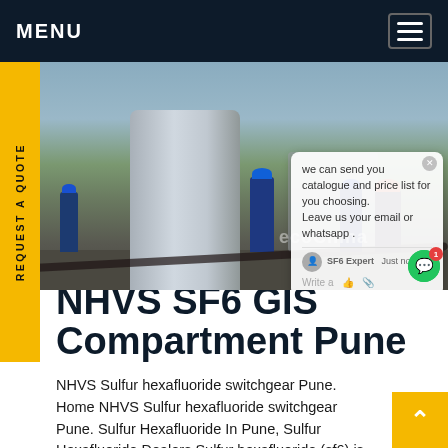MENU
[Figure (photo): Industrial workers in blue and red hard hats working at an energy/electrical installation site, with large equipment and pipes visible. Overlaid with a live chat popup offering catalogue and price list.]
NHVS SF6 GIS Compartment Pune
NHVS Sulfur hexafluoride switchgear Pune. Home NHVS Sulfur hexafluoride switchgear Pune. Sulfur Hexafluoride In Pune, Sulfur Hexafluoride Dealers Sulfur hexafluoride (sf6) is commonly used in